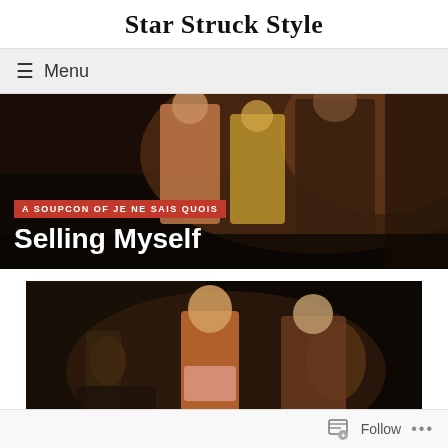Star Struck Style
≡ Menu
[Figure (photo): Hero banner showing women in 1970s costumes on a street at night with overlay text 'A SOUPCON OF JE NE SAIS QUOIS' and 'Selling Myself']
[Figure (photo): Film still showing a blonde woman in orange halter top and pink shorts standing on a dark city street, facing another woman in a long coat]
Follow •••